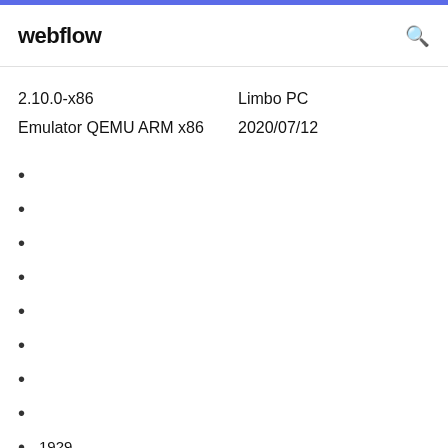webflow
2.10.0-x86
Emulator QEMU ARM x86
Limbo PC
2020/07/12
1929
1432